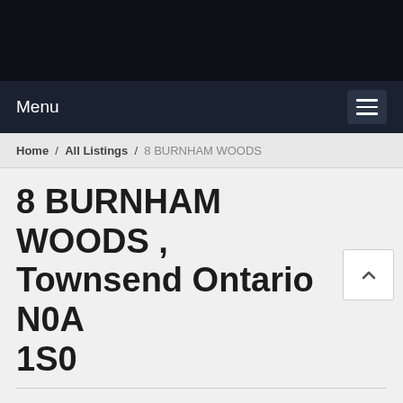Menu
Home / All Listings / 8 BURNHAM WOODS
8 BURNHAM WOODS , Townsend Ontario N0A 1S0
Detached Home for Sale
MLS# H4137583   Price: $821,000